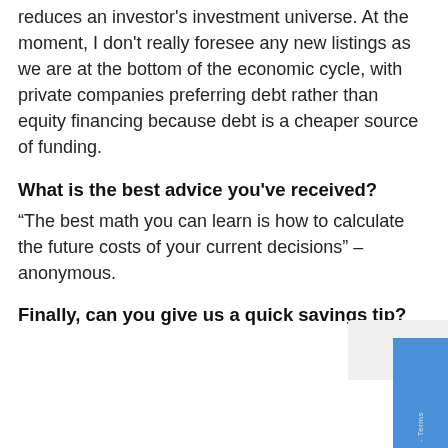reduces an investor's investment universe. At the moment, I don't really foresee any new listings as we are at the bottom of the economic cycle, with private companies preferring debt rather than equity financing because debt is a cheaper source of funding.
What is the best advice you've received?
“The best math you can learn is how to calculate the future costs of your current decisions” – anonymous.
Finally, can you give us a quick savings tip?